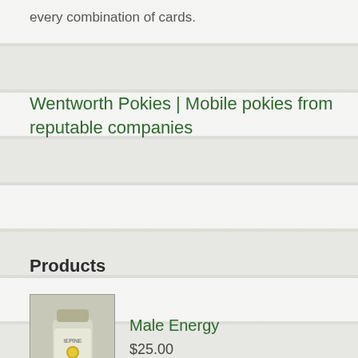every combination of cards.
Wentworth Pokies | Mobile pokies from reputable companies
Products
[Figure (photo): Product image of Male Energy supplement bottle]
Male Energy
$25.00